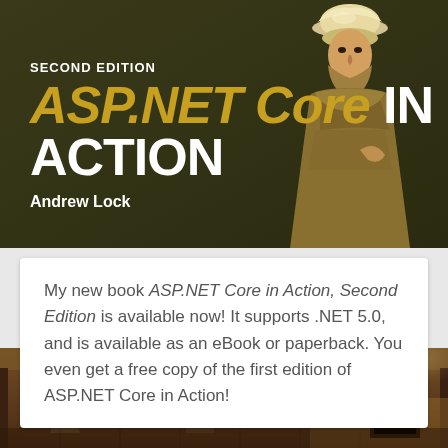[Figure (illustration): Book cover for ASP.NET Core in Action, Second Edition by Andrew Lock. Dark olive/brown background with a painting of a robed scholar or historical figure wearing a white turban on the right side. Title text in gold italic and white bold fonts.]
My new book ASP.NET Core in Action, Second Edition is available now! It supports .NET 5.0, and is available as an eBook or paperback. You even get a free copy of the first edition of ASP.NET Core in Action!
[Figure (photo): Interior photo of a dimly lit room with dark wood-paneled walls and ceiling spotlights. Appears to be a hallway or corridor with warm ambient lighting.]